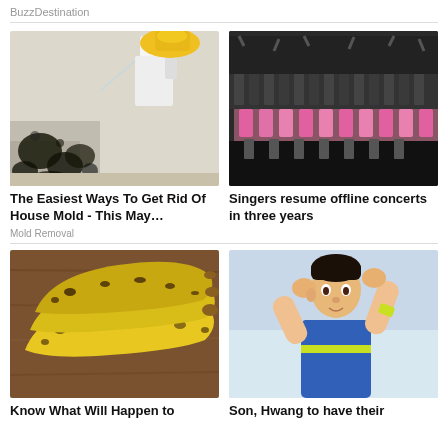BuzzDestination
[Figure (photo): Gloved hand spraying cleaner on black mold in corner of white wall]
[Figure (photo): Large group of singers/fans on stage, some in pink shirts, others in black, at an indoor venue]
The Easiest Ways To Get Rid Of House Mold - This May…
Singers resume offline concerts in three years
Mold Removal
[Figure (photo): Three overripe spotted bananas on a wooden surface]
[Figure (photo): Asian male athlete with hands raised near face, wearing blue and yellow-green jersey]
Know What Will Happen to
Son, Hwang to have their